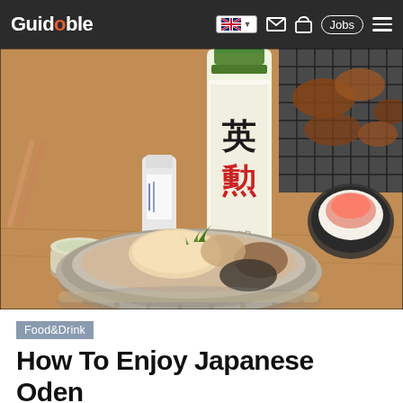Guidable
[Figure (photo): A bowl of Japanese oden with daikon radish, fish cakes, and other simmered ingredients, set on a wooden table with sake bottles and small cups in a restaurant setting.]
Food&Drink
How To Enjoy Japanese Oden